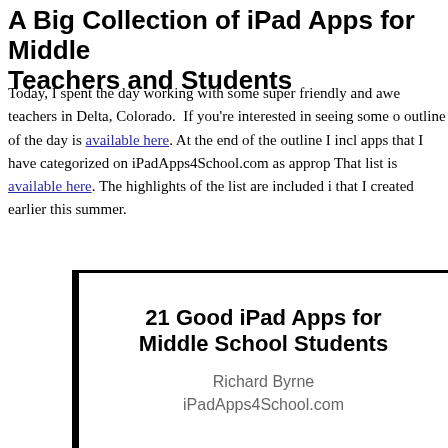A Big Collection of iPad Apps for Middle School Teachers and Students
Today, I spent the day working with some super friendly and awe... teachers in Delta, Colorado. If you're interested in seeing some o... outline of the day is available here. At the end of the outline I inc... apps that I have categorized on iPadApps4School.com as approp... That list is available here. The highlights of the list are included i... that I created earlier this summer.
[Figure (other): Slide image for '21 Good iPad Apps for Middle School Students' by Richard Byrne, iPadApps4School.com]